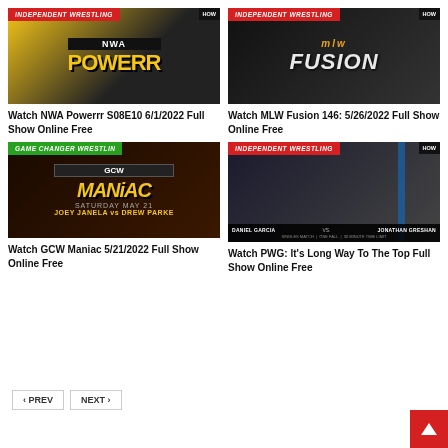[Figure (photo): NWA Powerrr show thumbnail with red INDEPENDENT WRESTLING badge and yellow POWERRR text]
Watch NWA Powerrr S08E10 6/1/2022 Full Show Online Free
[Figure (photo): MLW Fusion show thumbnail with red INDEPENDENT WRESTLING badge and MLW FUSION logo]
Watch MLW Fusion 146: 5/26/2022 Full Show Online Free
[Figure (photo): GCW Maniac show thumbnail with green GAME CHANGER WRESTLING badge and MANIAC title]
Watch GCW Maniac 5/21/2022 Full Show Online Free
[Figure (photo): PWG show thumbnail with red INDEPENDENT WRESTLING badge showing Daniel Garcia vs Jonathan Gresham]
Watch PWG: It's Long Way To The Top Full Show Online Free
< PREV
NEXT >